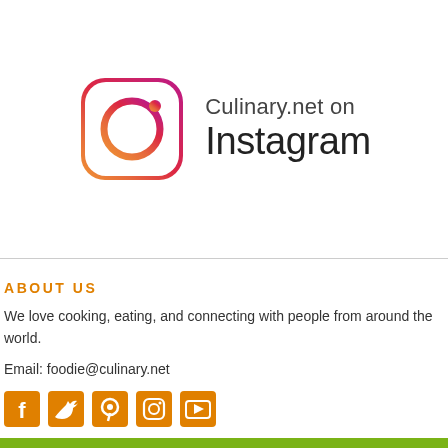[Figure (logo): Instagram logo with gradient border (purple to orange) and camera icon, alongside text 'Culinary.net on Instagram']
ABOUT US
We love cooking, eating, and connecting with people from around the world.
Email: foodie@culinary.net
[Figure (illustration): Social media icons row: Facebook, Twitter, Pinterest, Instagram, YouTube — all in orange color]